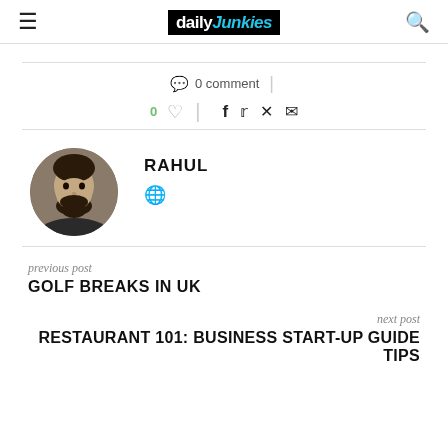daily junkies — navigation header with logo, hamburger menu, and search icon
0 comment
0 ♡  f  t  ⊕  ✉
RAHUL
[Figure (photo): Circular profile photo of Rahul, a man with dark hair and beard]
🌐 (globe/website icon)
previous post
GOLF BREAKS IN UK
next post
RESTAURANT 101: BUSINESS START-UP GUIDE TIPS